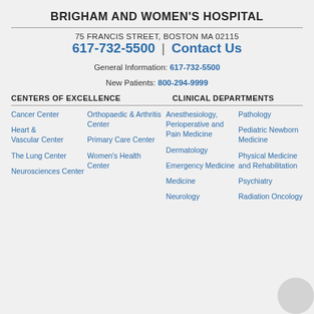BRIGHAM AND WOMEN'S HOSPITAL
75 FRANCIS STREET, BOSTON MA 02115
617-732-5500 | Contact Us
General Information: 617-732-5500
New Patients: 800-294-9999
CENTERS OF EXCELLENCE
CLINICAL DEPARTMENTS
Cancer Center
Heart & Vascular Center
The Lung Center
Neurosciences Center
Orthopaedic & Arthritis Center
Primary Care Center
Women's Health Center
Anesthesiology, Perioperative and Pain Medicine
Dermatology
Emergency Medicine
Medicine
Neurology
Pathology
Pediatric Newborn Medicine
Physical Medicine and Rehabilitation
Psychiatry
Radiation Oncology